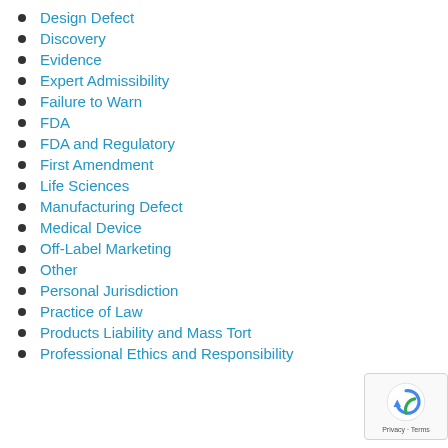Design Defect
Discovery
Evidence
Expert Admissibility
Failure to Warn
FDA
FDA and Regulatory
First Amendment
Life Sciences
Manufacturing Defect
Medical Device
Off-Label Marketing
Other
Personal Jurisdiction
Practice of Law
Products Liability and Mass Tort
Professional Ethics and Responsibility